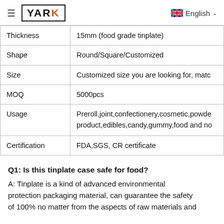≡ YARK   English
| Thickness | 15mm (food grade tinplate) |
| Shape | Round/Square/Customized |
| Size | Customized size you are looking for, matc |
| MOQ | 5000pcs |
| Usage | Preroll,joint,confectionery,cosmetic,powde product,edibles,candy,gummy,food and no |
| Certification | FDA,SGS, CR certificate |
Q1: Is this tinplate case safe for food?
A: Tinplate is a kind of advanced environmental protection packaging material, can guarantee the safety of 100% no matter from the aspects of raw materials and...